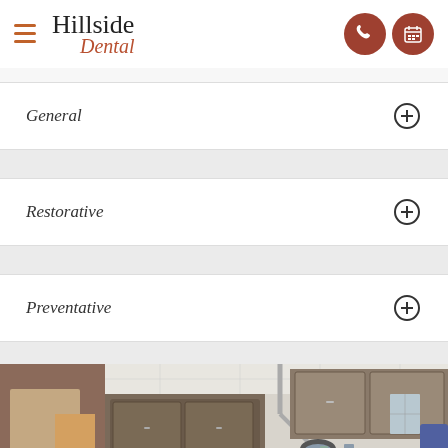Hillside Dental
General
Restorative
Preventative
[Figure (photo): Interior of a modern dental office showing an orange dental chair, dark wood cabinetry, dental equipment arm with light, and various dental tools and supplies on the counter.]